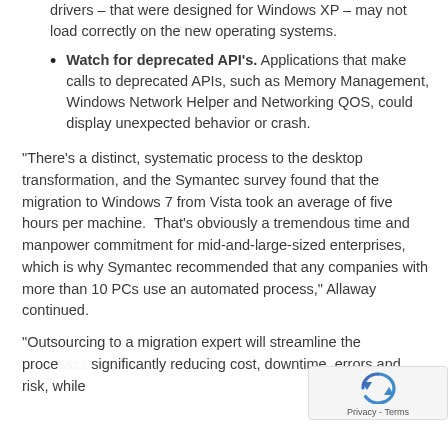drivers – that were designed for Windows XP – may not load correctly on the new operating systems.
Watch for deprecated API's. Applications that make calls to deprecated APIs, such as Memory Management, Windows Network Helper and Networking QOS, could display unexpected behavior or crash.
“There’s a distinct, systematic process to the desktop transformation, and the Symantec survey found that the migration to Windows 7 from Vista took an average of five hours per machine.  That’s obviously a tremendous time and manpower commitment for mid-and-large-sized enterprises, which is why Symantec recommended that any companies with more than 10 PCs use an automated process,” Allaway continued.
“Outsourcing to a migration expert will streamline the proce... significantly reducing cost, downtime, errors and risk, while...